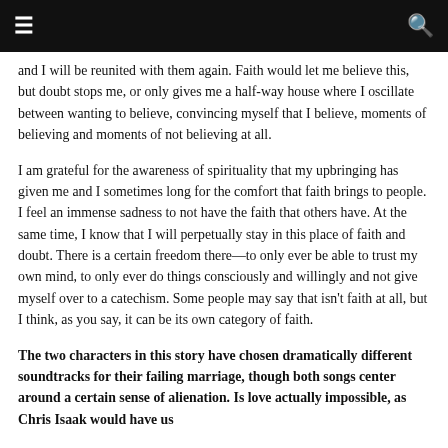≡  🔍
and I will be reunited with them again. Faith would let me believe this, but doubt stops me, or only gives me a half-way house where I oscillate between wanting to believe, convincing myself that I believe, moments of believing and moments of not believing at all.
I am grateful for the awareness of spirituality that my upbringing has given me and I sometimes long for the comfort that faith brings to people. I feel an immense sadness to not have the faith that others have. At the same time, I know that I will perpetually stay in this place of faith and doubt. There is a certain freedom there—to only ever be able to trust my own mind, to only ever do things consciously and willingly and not give myself over to a catechism. Some people may say that isn't faith at all, but I think, as you say, it can be its own category of faith.
The two characters in this story have chosen dramatically different soundtracks for their failing marriage, though both songs center around a certain sense of alienation. Is love actually impossible, as Chris Isaak would have us